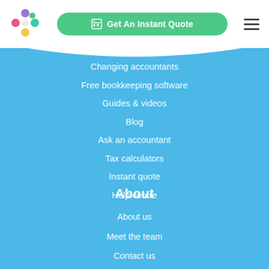[Figure (logo): Colorful dot cluster logo with pink, purple, teal, green, yellow dots arranged in a cross/flower pattern]
[Figure (other): Green rounded button with calculator icon and text 'Get An Instant Quote']
[Figure (other): Hamburger menu icon (three horizontal lines)]
Changing accountants
Free bookkeeping software
Guides & videos
Blog
Ask an accountant
Tax calculators
Instant quote
Help centre
About
About us
Meet the team
Contact us